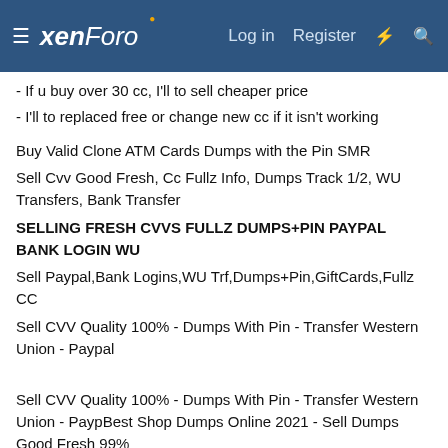xenForo | Log in | Register
- If u buy over 30 cc, I'll to sell cheaper price
- I'll to replaced free or change new cc if it isn't working
Buy Valid Clone ATM Cards Dumps with the Pin SMR
Sell Cvv Good Fresh, Cc Fullz Info, Dumps Track 1/2, WU Transfers, Bank Transfer
SELLING FRESH CVVS FULLZ DUMPS+PIN PAYPAL BANK LOGIN WU
Sell Paypal,Bank Logins,WU Trf,Dumps+Pin,GiftCards,Fullz CC
Sell CVV Quality 100% - Dumps With Pin - Transfer Western Union - Paypal
Sell CVV Quality 100% - Dumps With Pin - Transfer Western Union - PaypBest Shop Dumps Online 2021 - Sell Dumps Good Fresh 99%
~~~~~VERIFIED SELLING DUMPS + TRACK 1&2 WITH PIN